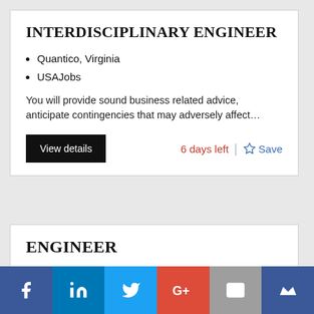INTERDISCIPLINARY ENGINEER
Quantico, Virginia
USAJobs
You will provide sound business related advice, anticipate contingencies that may adversely affect…
ENGINEER
Williamsburg, Virginia
USAJobs